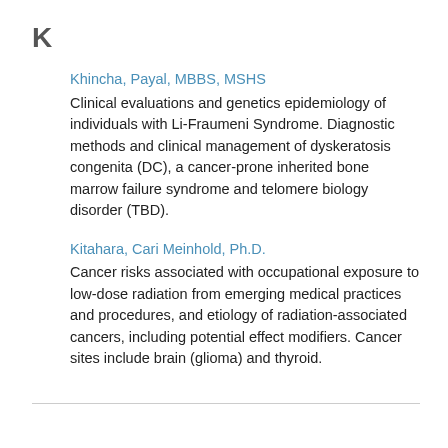K
Khincha, Payal, MBBS, MSHS
Clinical evaluations and genetics epidemiology of individuals with Li-Fraumeni Syndrome. Diagnostic methods and clinical management of dyskeratosis congenita (DC), a cancer-prone inherited bone marrow failure syndrome and telomere biology disorder (TBD).
Kitahara, Cari Meinhold, Ph.D.
Cancer risks associated with occupational exposure to low-dose radiation from emerging medical practices and procedures, and etiology of radiation-associated cancers, including potential effect modifiers. Cancer sites include brain (glioma) and thyroid.